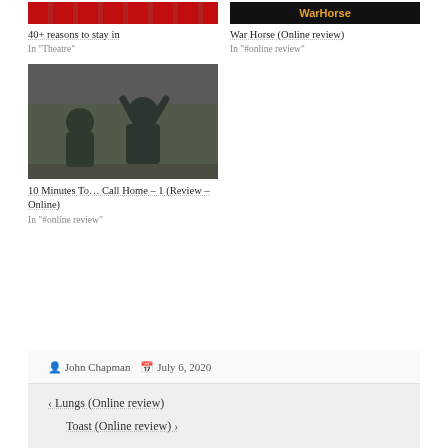[Figure (photo): Red patterned background image thumbnail]
40+ reasons to stay in
In "Theatre"
[Figure (photo): War Horse logo/title on dark background]
War Horse (Online review)
In "#online review"
[Figure (photo): Two people sitting cross-legged outdoors, one with arms raised above head]
10 Minutes To… Call Home – 1 (Review – Online)
In "#online review"
John Chapman   July 6, 2020
‹ Lungs (Online review)
Toast (Online review) ›